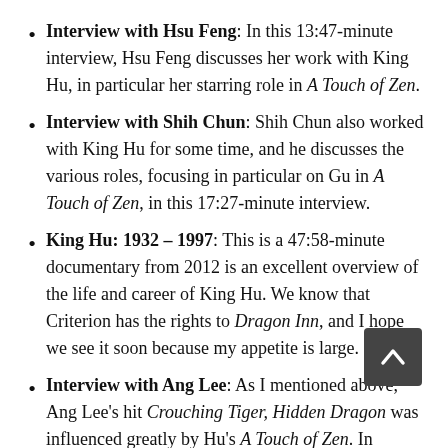Interview with Hsu Feng: In this 13:47-minute interview, Hsu Feng discusses her work with King Hu, in particular her starring role in A Touch of Zen.
Interview with Shih Chun: Shih Chun also worked with King Hu for some time, and he discusses the various roles, focusing in particular on Gu in A Touch of Zen, in this 17:27-minute interview.
King Hu: 1932 – 1997: This is a 47:58-minute documentary from 2012 is an excellent overview of the life and career of King Hu. We know that Criterion has the rights to Dragon Inn, and I hope we see it soon because my appetite is large.
Interview with Ang Lee: As I mentioned above, Ang Lee's hit Crouching Tiger, Hidden Dragon was influenced greatly by Hu's A Touch of Zen. In